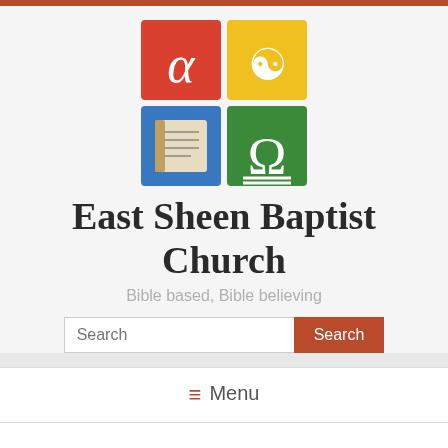[Figure (logo): East Sheen Baptist Church logo: 2x2 grid of colored squares — red with alpha symbol, yellow with dove/fish symbol, blue with Bible, green with omega symbol]
East Sheen Baptist Church
Bible based, Bible believing
Search [search box and button]
≡ Menu
Vision & Values